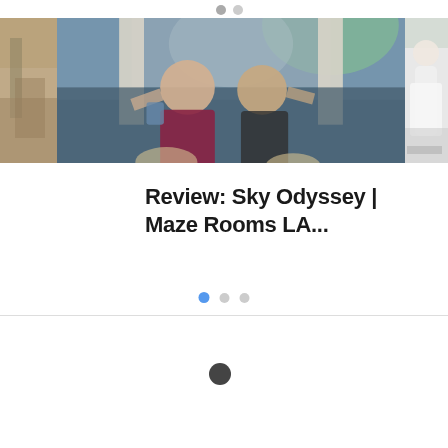[Figure (photo): Small navigation dots at top center, two gray circles]
[Figure (photo): Horizontal photo strip showing three partially visible photos: left shows an indoor scene, center shows two people posing in front of a Greek/ancient themed escape room backdrop with columns and a large face mural, right shows a woman in a white dress]
Review: Sky Odyssey | Maze Rooms LA...
[Figure (other): Three carousel indicator dots: one blue (active), two gray]
[Figure (other): Single dark circular dot/button at bottom center-left area]